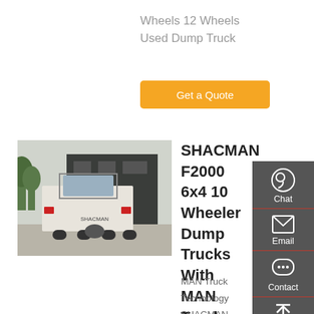Wheels 12 Wheels Used Dump Truck
Get a Quote
[Figure (photo): Rear view of a SHACMAN truck in a yard with dark industrial building in background]
SHACMAN F2000 6x4 10 Wheeler Dump Trucks With MAN Truck
MAN Truck Technology SHACMAN F2000 6x4 10 wheeler Dump Trucks--Truck body from 15cbm~20cbm, sand and gravels transportation normal type dump body, big